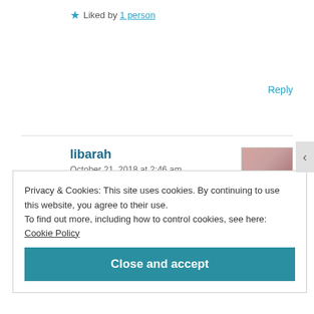★ Liked by 1 person
Reply
libarah
October 21, 2018 at 2:46 am
Thank you 😍
★ Like
Privacy & Cookies: This site uses cookies. By continuing to use this website, you agree to their use.
To find out more, including how to control cookies, see here: Cookie Policy
Close and accept